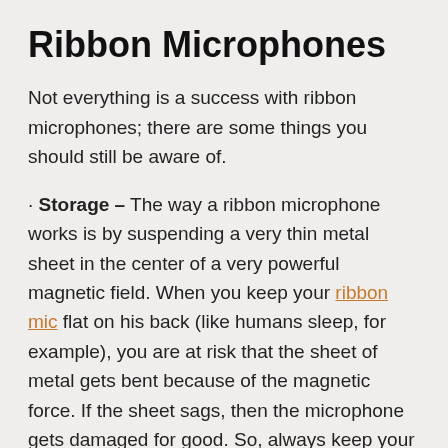Ribbon Microphones
Not everything is a success with ribbon microphones; there are some things you should still be aware of.
· Storage – The way a ribbon microphone works is by suspending a very thin metal sheet in the center of a very powerful magnetic field. When you keep your ribbon mic flat on his back (like humans sleep, for example), you are at risk that the sheet of metal gets bent because of the magnetic force. If the sheet sags, then the microphone gets damaged for good. So, always keep your ribbon microphones on their feet or sleeping like bats upside down.